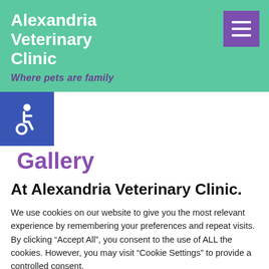Alexandria Veterinary Clinic
Where pets are family
[Figure (logo): Wheelchair accessibility icon in white on blue/indigo square background]
Gallery
At Alexandria Veterinary Clinic.
We use cookies on our website to give you the most relevant experience by remembering your preferences and repeat visits. By clicking “Accept All”, you consent to the use of ALL the cookies. However, you may visit “Cookie Settings” to provide a controlled consent.
Cookie Settings | Accept All